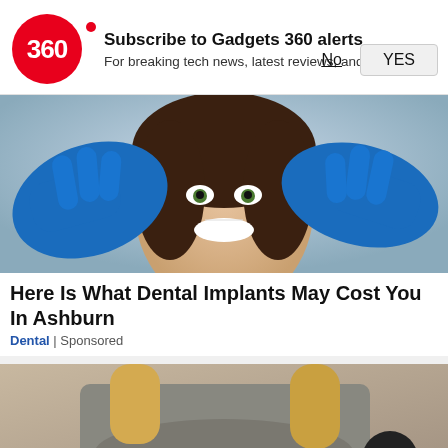Subscribe to Gadgets 360 alerts
For breaking tech news, latest reviews, and more
[Figure (photo): A smiling woman at a dental office with blue-gloved hands examining her teeth]
Here Is What Dental Implants May Cost You In Ashburn
Dental | Sponsored
[Figure (photo): A woman in a grey t-shirt holding her abdomen area, partial view]